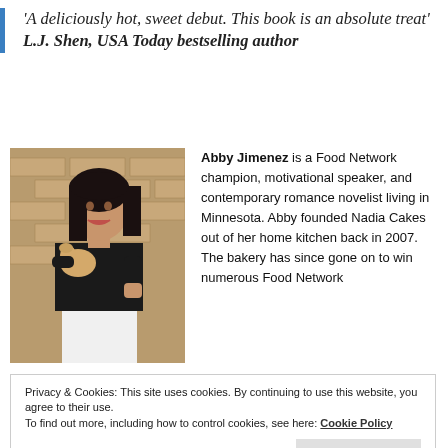'A deliciously hot, sweet debut. This book is an absolute treat' L.J. Shen, USA Today bestselling author
[Figure (photo): Author photo of Abby Jimenez, a woman with long dark hair wearing a black top and white pants, holding a small tan dog, standing in front of a brick wall.]
Abby Jimenez is a Food Network champion, motivational speaker, and contemporary romance novelist living in Minnesota. Abby founded Nadia Cakes out of her home kitchen back in 2007. The bakery has since gone on to win numerous Food Network
Privacy & Cookies: This site uses cookies. By continuing to use this website, you agree to their use.
To find out more, including how to control cookies, see here: Cookie Policy